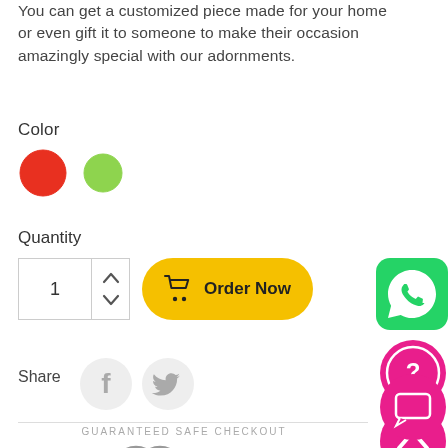You can get a customized piece made for your home or even gift it to someone to make their occasion amazingly special with our adornments.
Color
[Figure (infographic): Two color swatches: a red filled circle and a green filled circle]
Quantity
[Figure (infographic): Quantity input showing value 1 with up/down arrows, and a yellow rounded Order Now button with shopping cart icon]
[Figure (infographic): WhatsApp green icon button on right side]
[Figure (infographic): Pink circular help/question icon on right side]
[Figure (infographic): Pink circular chat/message icon on right side]
[Figure (infographic): Pink circular up-arrow scroll-to-top icon on right side]
Share
[Figure (infographic): Facebook and Twitter circular share buttons]
GUARANTEED SAFE CHECKOUT
[Figure (infographic): Payment logos: VISA, MasterCard, AMEX, DISCOVER]